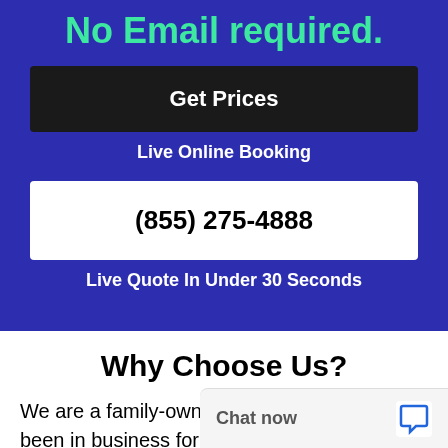No Email required.
Get Prices
Live Online Booking
(855) 275-4888
Live Quote In Under 30 Seconds
Why Choose Us?
We are a family-owned business. We have been in business for many years. Our reputation is great, and it's growing all the time. You can get the best rates by booking with us. Our service is s above and beyond for c
Chat now